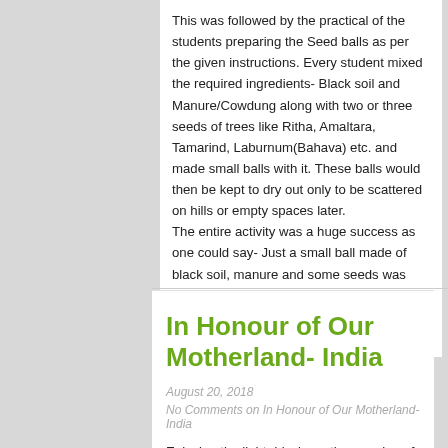This was followed by the practical of the students preparing the Seed balls as per the given instructions. Every student mixed the required ingredients- Black soil and Manure/Cowdung along with two or three seeds of trees like Ritha, Amaltara, Tamarind, Laburnum(Bahava) etc. and made small balls with it. These balls would then be kept to dry out only to be scattered on hills or empty spaces later.
The entire activity was a huge success as one could say- Just a small ball made of black soil, manure and some seeds was actually the promise every child held in his hand for a Green World to come…
In Honour of Our Motherland- India
August 20, 2018
No Comments on In Honour of Our Motherland- India
Enjoying the light drizzle on the morning of our 72nd